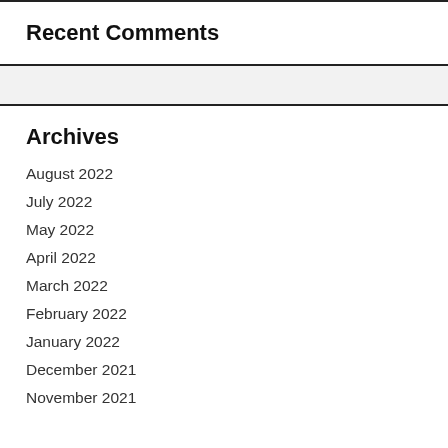Recent Comments
Archives
August 2022
July 2022
May 2022
April 2022
March 2022
February 2022
January 2022
December 2021
November 2021